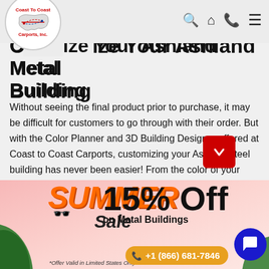Coast To Coast Carports, Inc. — navigation icons
Customize Your Ashland Metal Building
Without seeing the final product prior to purchase, it may be difficult for customers to go through with their order. But with the Color Planner and 3D Building Designer offered at Coast to Coast Carports, customizing your Ashland steel building has never been easier! From the color of your room, to the doors and windows, you have full control over the aesthetics of your structure. Oh, and did we mention you can do all this from the comfort of your home? That's
[Figure (infographic): Summer Sale banner: SUMMER Sale text in orange italic, 15% Off on Metal Buildings in black bold, phone number +1 (866) 681-7846 in orange pill button, chat bubble icon in blue circle, leaf decorations, *Offer Valid in Limited States Only]